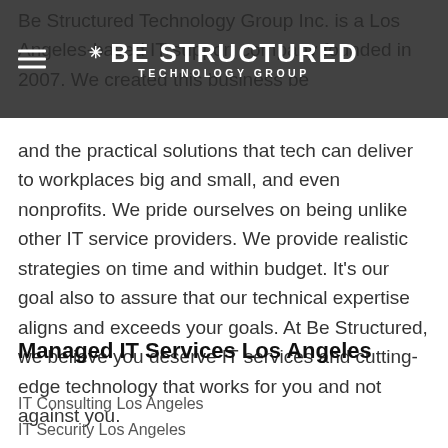BE STRUCTURED TECHNOLOGY GROUP
Be Structured Technology Group Inc. is a Los Angeles-based IT support company founded in 2007. We created this business because we love technology and the practical solutions that tech can deliver to workplaces big and small, and even nonprofits. We pride ourselves on being unlike other IT service providers. We provide realistic strategies on time and within budget. It's our goal also to assure that our technical expertise aligns and exceeds your goals. At Be Structured, we believe you deserve IT services and cutting-edge technology that works for you and not against you.
Managed IT Services Los Angeles
IT Consulting Los Angeles
IT Security Los Angeles